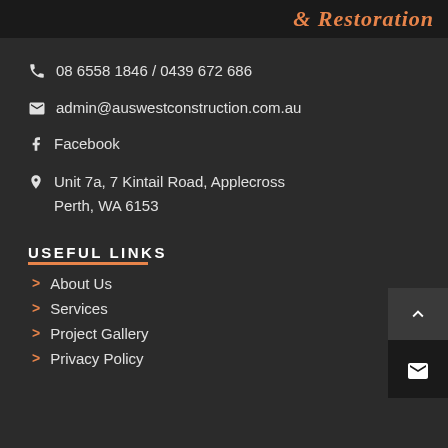& Restoration
08 6558 1846 / 0439 672 686
admin@auswestconstruction.com.au
Facebook
Unit 7a, 7 Kintail Road, Applecross
Perth, WA 6153
USEFUL LINKS
About Us
Services
Project Gallery
Privacy Policy